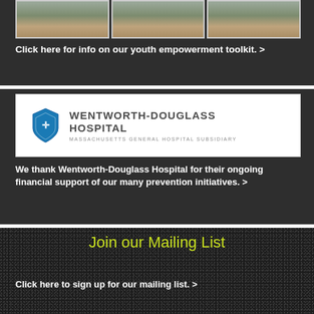[Figure (photo): Three framed group photos arranged side by side showing youth groups outdoors]
Click here for info on our youth empowerment toolkit. >
[Figure (logo): Wentworth-Douglass Hospital logo with blue shield icon and text 'WENTWORTH-DOUGLASS HOSPITAL Massachusetts General Hospital Subsidiary']
We thank Wentworth-Douglass Hospital for their ongoing financial support of our many prevention initiatives. >
Join our Mailing List
Click here to sign up for our mailing list. >